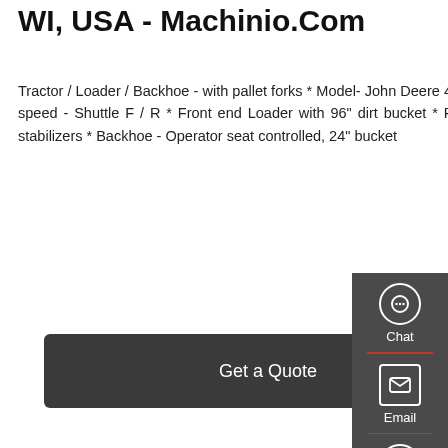WI, USA - Machinio.Com
Tractor / Loader / Backhoe - with pallet forks * Model- John Deere 410C * Open cab - 4-post ROPS * Transmission- Auto with 4-speed - Shuttle F / R * Front end Loader with 96" dirt bucket * Pallet forks - quick-attach onto bucket mounting * Dual pad stabilizers * Backhoe - Operator seat controlled, 24" bucket
[Figure (screenshot): Get a Quote button - dark gray rounded rectangle with white text]
[Figure (photo): Yellow LiuGong excavator/backhoe machine on white background]